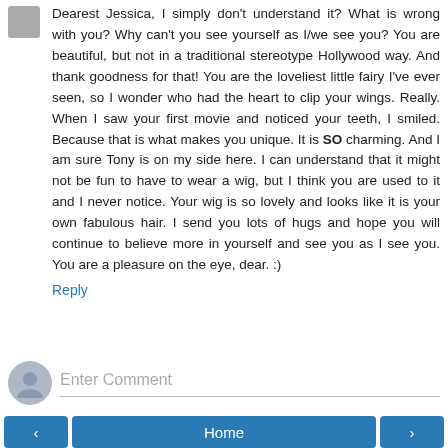Dearest Jessica, I simply don't understand it? What is wrong with you? Why can't you see yourself as I/we see you? You are beautiful, but not in a traditional stereotype Hollywood way. And thank goodness for that! You are the loveliest little fairy I've ever seen, so I wonder who had the heart to clip your wings. Really. When I saw your first movie and noticed your teeth, I smiled. Because that is what makes you unique. It is SO charming. And I am sure Tony is on my side here. I can understand that it might not be fun to have to wear a wig, but I think you are used to it and I never notice. Your wig is so lovely and looks like it is your own fabulous hair. I send you lots of hugs and hope you will continue to believe more in yourself and see you as I see you. You are a pleasure on the eye, dear. :)
Reply
Enter Comment